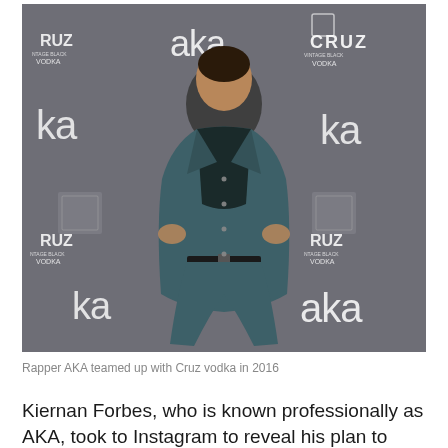[Figure (photo): A man wearing a teal/dark blue suit standing in front of a step-and-repeat backdrop featuring the AKA and Cruz Vintage Black Vodka logos. The backdrop is gray with white logos repeated in a grid pattern.]
Rapper AKA teamed up with Cruz vodka in 2016
Kiernan Forbes, who is known professionally as AKA, took to Instagram to reveal his plan to